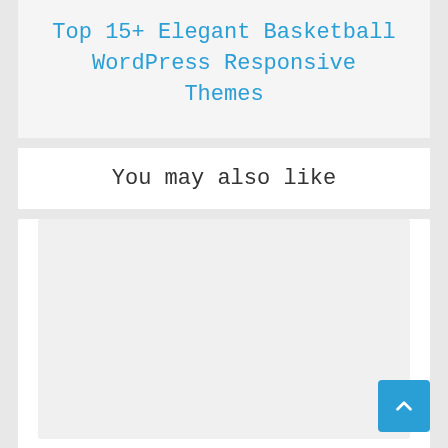Top 15+ Elegant Basketball WordPress Responsive Themes
You may also like
[Figure (other): White image placeholder card for a related article thumbnail]
Top 5+ Responsive WordPress